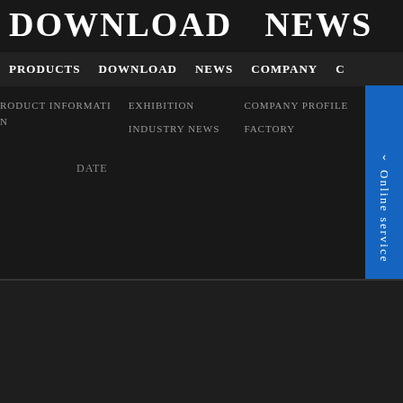DOWNLOAD NEWS COMPANY
PRODUCTS DOWNLOAD NEWS COMPANY C
PRODUCT INFORMATION   EXHIBITION   COMPANY PROFILE
INDUSTRY NEWS   FACTORY
DATE
[Figure (screenshot): Website navigation dropdown menu on dark background with blue Online service panel on right side]